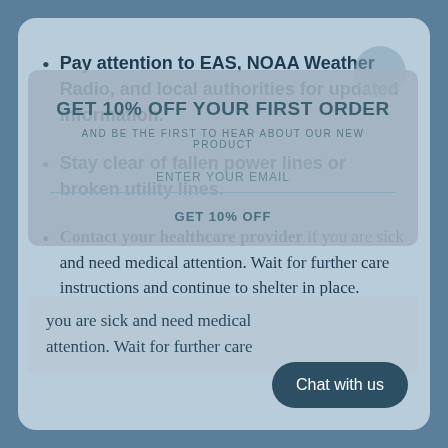Pay attention to EAS, NOAA Weather Radio, and local authorities for updated information.
Stay clear of fallen power lines or broken utility lines.
Contact your healthcare provider if you are sick and need medical attention. Wait for further care instructions and continue to shelter in place.